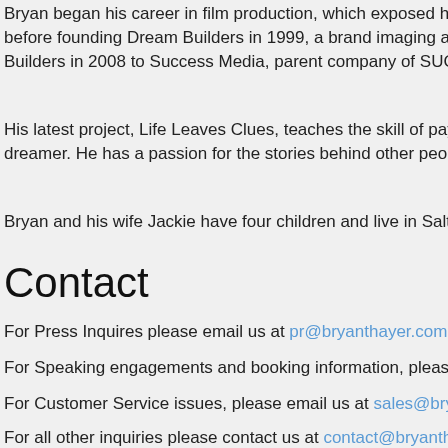Bryan began his career in film production, which exposed him to before founding Dream Builders in 1999, a brand imaging and m Builders in 2008 to Success Media, parent company of SUCCE
His latest project, Life Leaves Clues, teaches the skill of paying dreamer. He has a passion for the stories behind other people's
Bryan and his wife Jackie have four children and live in Salt Lak
Contact
For Press Inquires please email us at pr@bryanthayer.com
For Speaking engagements and booking information, please em
For Customer Service issues, please email us at sales@bryantb
For all other inquiries please contact us at contact@bryanthaye